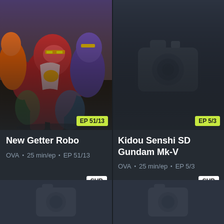[Figure (illustration): Anime artwork showing colorful mecha robot characters from New Getter Robo]
EP 51/13
New Getter Robo
OVA • 25 min/ep • EP 51/13
SUB
[Figure (illustration): Placeholder camera icon on dark background for Kidou Senshi SD Gundam Mk-V]
EP 5/3
Kidou Senshi SD Gundam Mk-V
OVA • 25 min/ep • EP 5/3
SUB